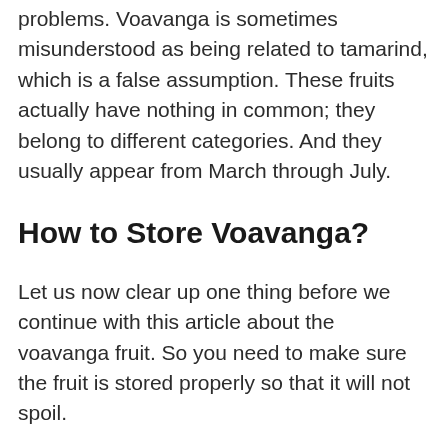problems. Voavanga is sometimes misunderstood as being related to tamarind, which is a false assumption. These fruits actually have nothing in common; they belong to different categories. And they usually appear from March through July.
How to Store Voavanga?
Let us now clear up one thing before we continue with this article about the voavanga fruit. So you need to make sure the fruit is stored properly so that it will not spoil.
The outside and inside of some fruits are edible. Is Spanish tamarind one of them? Well! Neither side of that fruit is edible. Only its brown pulp, which is mushy and carries a